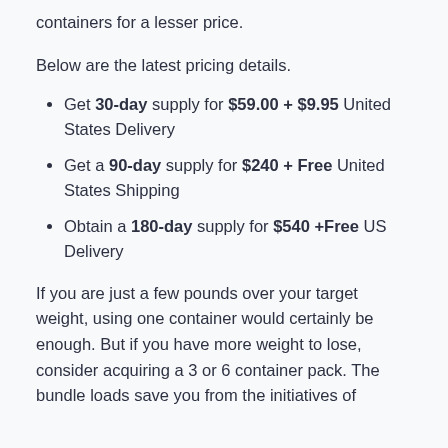containers for a lesser price.
Below are the latest pricing details.
Get 30-day supply for $59.00 + $9.95 United States Delivery
Get a 90-day supply for $240 + Free United States Shipping
Obtain a 180-day supply for $540 +Free US Delivery
If you are just a few pounds over your target weight, using one container would certainly be enough. But if you have more weight to lose, consider acquiring a 3 or 6 container pack. The bundle loads save you from the initiatives of